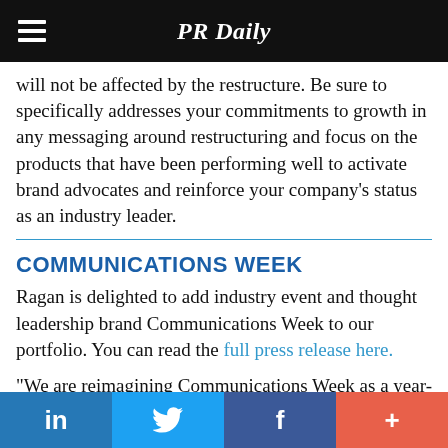PR Daily
will not be affected by the restructure. Be sure to specifically addresses your commitments to growth in any messaging around restructuring and focus on the products that have been performing well to activate brand advocates and reinforce your company's status as an industry leader.
COMMUNICATIONS WEEK
Ragan is delighted to add industry event and thought leadership brand Communications Week to our portfolio. You can read the full press release here.
“We are reimagining Communications Week as a year-round endeavor,” says Ragan Communications CEO Diane Schwartz. “The rollout will begin next month with thought-provoking
in | Twitter bird | f | +